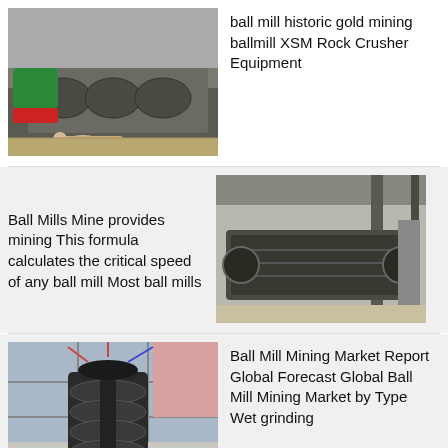[Figure (photo): Industrial screw conveyor / spiral classifier machine with a worker lying next to it inspecting it, photographed in a factory/workshop setting.]
ball mill historic gold mining ballmill XSM Rock Crusher Equipment
[Figure (photo): Text description: Ball Mills Mine provides mining This formula calculates the critical speed of any ball mill Most ball mills]
Ball Mills Mine provides mining This formula calculates the critical speed of any ball mill Most ball mills
[Figure (photo): Industrial vibrating screen/sieving machine inside a factory building.]
[Figure (photo): Large industrial ball mill or agitator tank photographed from below inside a factory, showing a cylindrical structure with blades.]
Ball Mill Mining Market Report Global Forecast Global Ball Mill Mining Market by Type Wet grinding